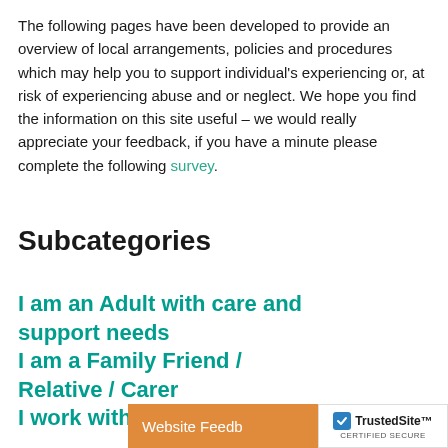The following pages have been developed to provide an overview of local arrangements, policies and procedures which may help you to support individual's experiencing or, at risk of experiencing abuse and or neglect. We hope you find the information on this site useful – we would really appreciate your feedback, if you have a minute please complete the following survey.
Subcategories
I am an Adult with care and support needs
I am a Family Friend / Relative / Carer
I work with Ad…